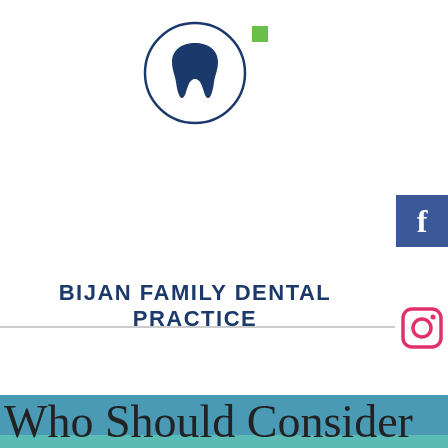[Figure (logo): Bijan Family Dental Practice logo: dark blue tooth icon inside a circle with a small green square accent]
BIJAN FAMILY DENTAL PRACTICE
[Figure (infographic): Navigation bar with hamburger menu icon on left (dark blue background) and calendar appointment icon on right (green background). Facebook and Instagram social media icons on far right.]
[Figure (infographic): Decorative horizontal color bands: teal, lighter teal, and green]
Who Should Consider